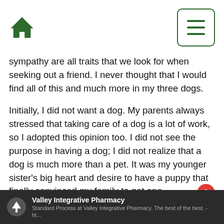Home | Menu
sympathy are all traits that we look for when seeking out a friend. I never thought that I would find all of this and much more in my three dogs.
Initially, I did not want a dog. My parents always stressed that taking care of a dog is a lot of work, so I adopted this opinion too. I did not see the purpose in having a dog; I did not realize that a dog is much more than a pet. It was my younger sister’s big heart and desire to have a puppy that finally convinced my family to get one.
Steel, our first and oldest dog, truly changed my world. I remember coming home from school and
Valley Integrative Pharmacy — Standard Process at Valley Integrative Pharmacy. The best of the best. - ht...